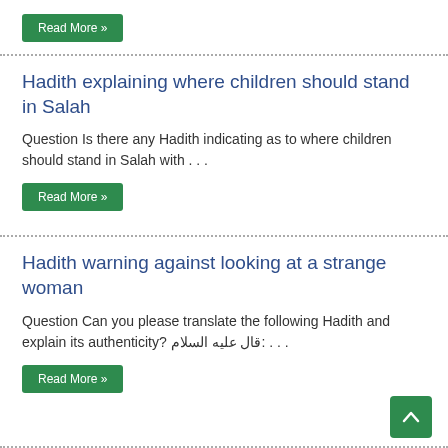Read More »
Hadith explaining where children should stand in Salah
Question Is there any Hadith indicating as to where children should stand in Salah with . . .
Read More »
Hadith warning against looking at a strange woman
Question Can you please translate the following Hadith and explain its authenticity? قال عليه السلام: . . .
Read More »